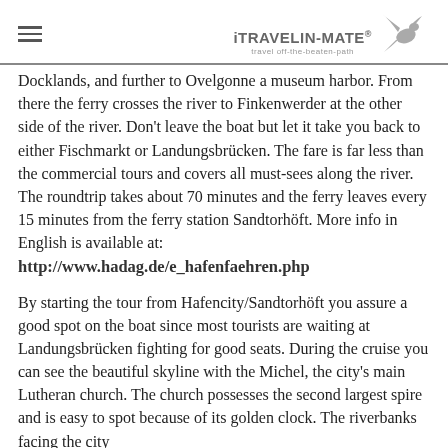iTRAVELIN-MATE travel off-the-beaten-path
Docklands, and further to Ovelgonne a museum harbor. From there the ferry crosses the river to Finkenwerder at the other side of the river. Don't leave the boat but let it take you back to either Fischmarkt or Landungsbrücken. The fare is far less than the commercial tours and covers all must-sees along the river. The roundtrip takes about 70 minutes and the ferry leaves every 15 minutes from the ferry station Sandtorhöft. More info in English is available at:
http://www.hadag.de/e_hafenfaehren.php
By starting the tour from Hafencity/Sandtorhöft you assure a good spot on the boat since most tourists are waiting at Landungsbrücken fighting for good seats. During the cruise you can see the beautiful skyline with the Michel, the city's main Lutheran church. The church possesses the second largest spire and is easy to spot because of its golden clock. The riverbanks facing the city